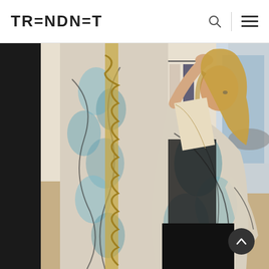TRENDNET
[Figure (photo): A woman with long blonde hair wearing a patterned kimono-style jacket over black clothing, holding up a printed garment in what appears to be a fashion boutique. Clothing racks are visible in the background along with a window showing a street outside.]